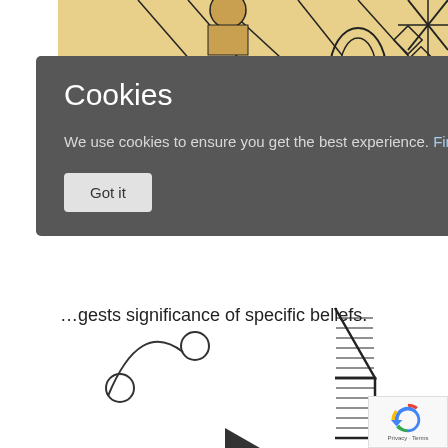[Figure (illustration): Decorative illustration with beige/yellow background, geometric and organic patterns including dotted oval, diamond shapes, and angular lines. Top portion visible.]
Cookies
We use cookies to ensure you get the best experience. Find out more.
Got it
ould be a priest The attire and that are linked gests significance of specific beliefs.
[Figure (illustration): Line drawing at bottom showing geometric shapes: circles connected by a curved arc on the left, and a hatched chevron/arrow shape on the right.]
[Figure (logo): Google reCAPTCHA badge with recycling arrows icon and 'Privacy - Terms' text.]